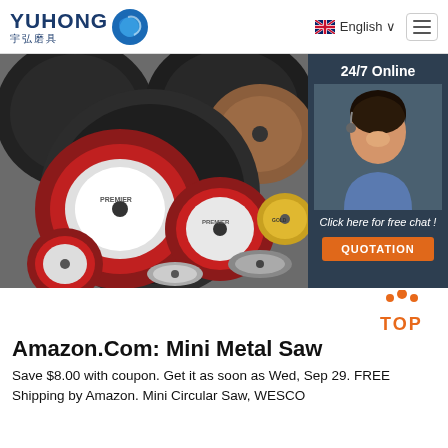[Figure (logo): YUHONG logo with Chinese characters 宇弘磨具 and blue wave icon]
English ∨
[Figure (photo): Collection of metal grinding and cutting discs/wheels arranged in a group, with a sidebar showing a customer service representative with headset and text '24/7 Online', 'Click here for free chat!', and a 'QUOTATION' button]
[Figure (other): TOP navigation button with orange dots forming an arrow/triangle and 'TOP' text in orange]
Amazon.Com: Mini Metal Saw
Save $8.00 with coupon. Get it as soon as Wed, Sep 29. FREE Shipping by Amazon. Mini Circular Saw, WESCO